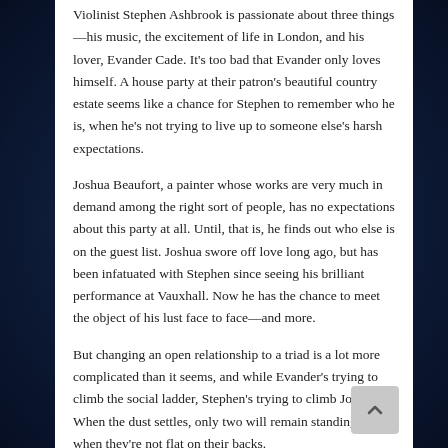Violinist Stephen Ashbrook is passionate about three things—his music, the excitement of life in London, and his lover, Evander Cade. It's too bad that Evander only loves himself. A house party at their patron's beautiful country estate seems like a chance for Stephen to remember who he is, when he's not trying to live up to someone else's harsh expectations.
Joshua Beaufort, a painter whose works are very much in demand among the right sort of people, has no expectations about this party at all. Until, that is, he finds out who else is on the guest list. Joshua swore off love long ago, but has been infatuated with Stephen since seeing his brilliant performance at Vauxhall. Now he has the chance to meet the object of his lust face to face—and more.
But changing an open relationship to a triad is a lot more complicated than it seems, and while Evander's trying to climb the social ladder, Stephen's trying to climb Joshua. When the dust settles, only two will remain standing…when they're not flat on their backs.